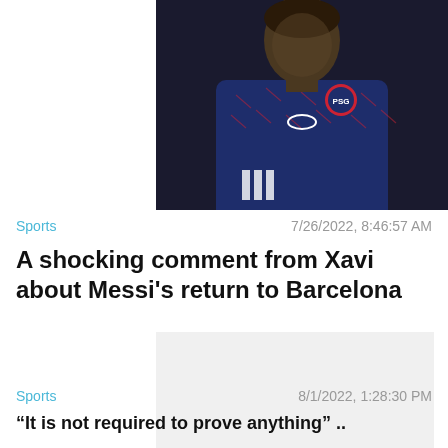[Figure (photo): Photo of a soccer player wearing a dark blue PSG jersey with Jordan brand logo and Adidas branding, cropped to show torso and face]
Sports
7/26/2022, 8:46:57 AM
A shocking comment from Xavi about Messi's return to Barcelona
[Figure (other): Advertisement placeholder block (light gray background) with a Close X button in the bottom right corner]
Sports
8/1/2022, 1:28:30 PM
“It is not required to prove anything” ..